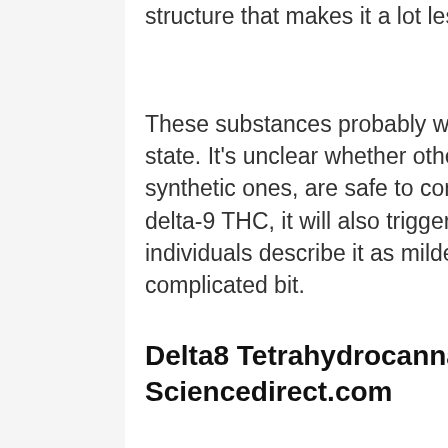structure that makes it a lot less potent.
These substances probably won't produce ill results, specialists state. It's unclear whether other by-products, consisting of synthetic ones, are safe to consume. Since delta-8 is so similar to delta-9 THC, it will also trigger a “high.” However, some individuals describe it as milder than with delta-9 THC. Here’s the complicated bit.
Delta8 Tetrahydrocannabinol – An Overview – Sciencedirect.com